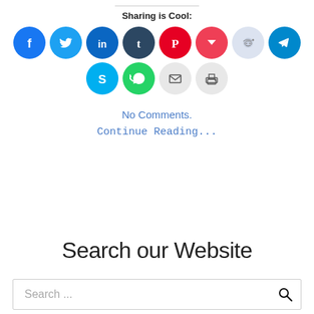Sharing is Cool:
[Figure (infographic): Two rows of social media share icons: Facebook, Twitter, LinkedIn, Tumblr, Pinterest, Pocket, Reddit, Telegram (top row); Skype, WhatsApp, Email, Print (bottom row)]
No Comments.
Continue Reading...
Search our Website
Search ...